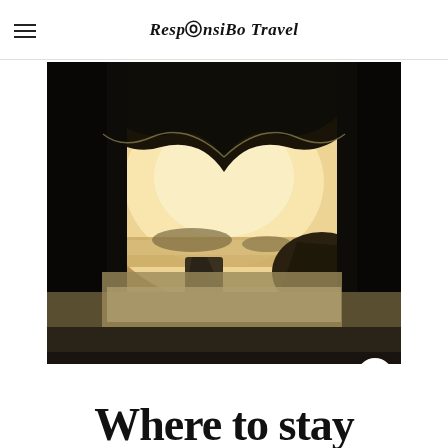ResponsiBo Travel
[Figure (photo): View from inside a sea cave or rock arch looking out onto a misty beach at golden hour, with silhouetted rocks and ocean beyond]
Where to stay